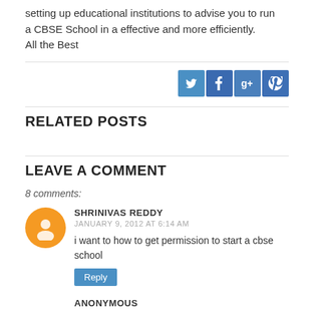setting up educational institutions to advise you to run a CBSE School in a effective and more efficiently.
All the Best
[Figure (other): Social media sharing buttons: Twitter, Facebook, Google+, Pinterest]
RELATED POSTS
LEAVE A COMMENT
8 comments:
SHRINIVAS REDDY
JANUARY 9, 2012 AT 6:14 AM
i want to how to get permission to start a cbse school
ANONYMOUS